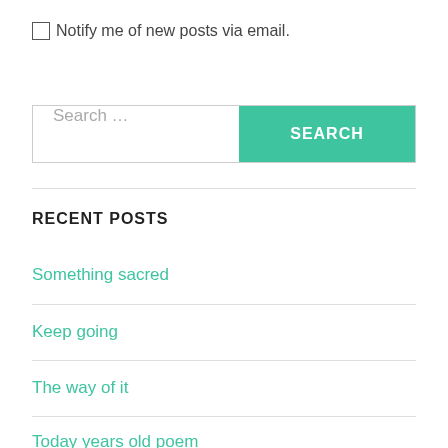Notify me of new posts via email.
Search ...
RECENT POSTS
Something sacred
Keep going
The way of it
Today years old poem